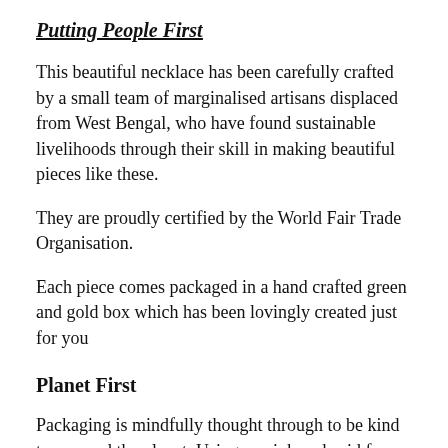Putting People First
This beautiful necklace has been carefully crafted by a small team of marginalised artisans displaced from West Bengal, who have found sustainable livelihoods through their skill in making beautiful pieces like these.
They are proudly certified by the World Fair Trade Organisation.
Each piece comes packaged in a hand crafted green and gold box which has been lovingly created just for you
Planet First
Packaging is mindfully thought through to be kind to you and the planet. Using soy ink and acid free paper, this packaging coming from upcycled materials and kraft paper to reduce any footprint. To help keep your jewellery